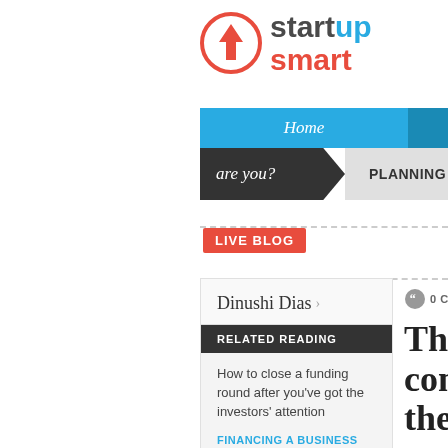[Figure (logo): Startup Smart logo with orange circle arrow icon and 'startup smart' text in grey/blue/red colors]
Home
are you? | PLANNING
LIVE BLOG
Dinushi Dias
RELATED READING
How to close a funding round after you've got the investors' attention
FINANCING A BUSINESS
0 COMMENTS
This Sha competit theatre"
Wednesday, 27 Jan
Tweet